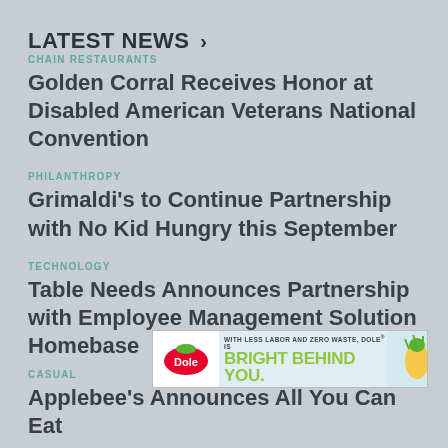LATEST NEWS >
CHAIN RESTAURANTS
Golden Corral Receives Honor at Disabled American Veterans National Convention
PHILANTHROPY
Grimaldi's to Continue Partnership with No Kid Hungry this September
TECHNOLOGY
Table Needs Announces Partnership with Employee Management Solution Homebase
[Figure (infographic): Dole advertisement banner: WITH LESS LABOR AND ZERO WASTE, DOLE® IS BRIGHT BEHIND YOU. with Dole logo and pineapple image.]
CASUAL
Applebee's Announces All You Can Eat